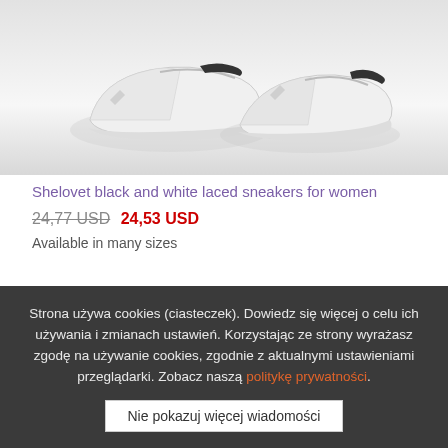[Figure (photo): White laced sneakers for women on a light grey background, showing the side profile of the shoes]
Shelovet black and white laced sneakers for women
24,77 USD 24,53 USD
Available in many sizes
Strona używa cookies (ciasteczek). Dowiedz się więcej o celu ich używania i zmianach ustawień. Korzystając ze strony wyrażasz zgodę na używanie cookies, zgodnie z aktualnymi ustawieniami przeglądarki. Zobacz naszą politykę prywatności.
Nie pokazuj więcej wiadomości